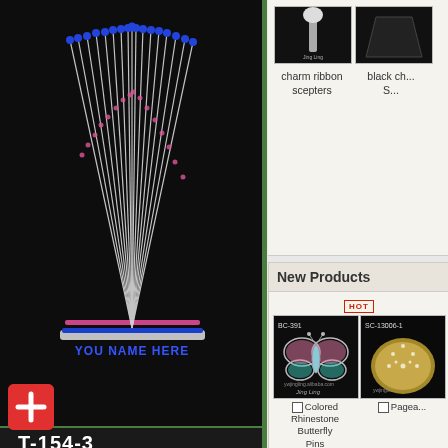[Figure (photo): Tall rhinestone crown with blue/pink stones and 'YOU NAME HERE' text on dark background - product T-154-3]
T-154-3
3" H
[Figure (photo): Round full rhinestone crystal crown on dark background]
[Figure (photo): Blue gemstone crown partially visible at bottom]
[Figure (photo): charm ribbon scepters product thumbnail]
charm ribbon scepters
[Figure (photo): black ch... S... product thumbnail (partially cut off)]
New Products
HOT
[Figure (photo): BC-391 Colored Rhinestone Butterfly Pins - butterfly shaped pin with pink and teal rhinestones on dark background, ywjingling.alibaba.com watermark]
Colored Rhinestone Butterfly Pins
[Figure (photo): SC-13006-1 Pageant product thumbnail partially visible]
Pagea...